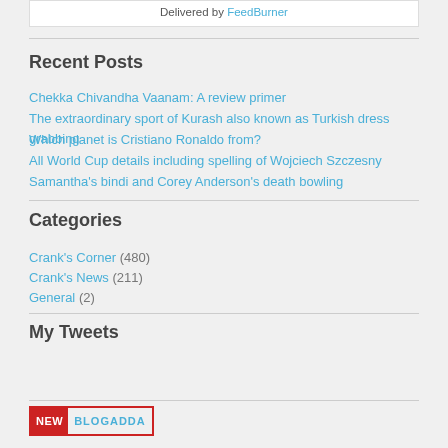Delivered by FeedBurner
Recent Posts
Chekka Chivandha Vaanam: A review primer
The extraordinary sport of Kurash also known as Turkish dress grabbing
Which planet is Cristiano Ronaldo from?
All World Cup details including spelling of Wojciech Szczesny
Samantha's bindi and Corey Anderson's death bowling
Categories
Crank's Corner (480)
Crank's News (211)
General (2)
My Tweets
[Figure (logo): New Blogadda badge logo with red NEW label and cyan BLOGADDA text]